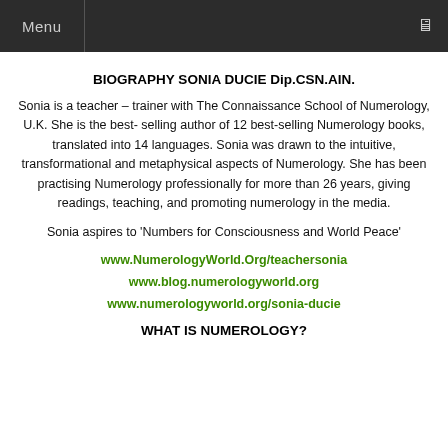Menu
BIOGRAPHY SONIA DUCIE Dip.CSN.AIN.
Sonia is a teacher – trainer with The Connaissance School of Numerology, U.K. She is the best- selling author of 12 best-selling Numerology books, translated into 14 languages. Sonia was drawn to the intuitive, transformational and metaphysical aspects of Numerology. She has been practising Numerology professionally for more than 26 years, giving readings, teaching, and promoting numerology in the media.
Sonia aspires to 'Numbers for Consciousness and World Peace'
www.NumerologyWorld.Org/teachersonia
www.blog.numerologyworld.org
www.numerologyworld.org/sonia-ducie
WHAT IS NUMEROLOGY?